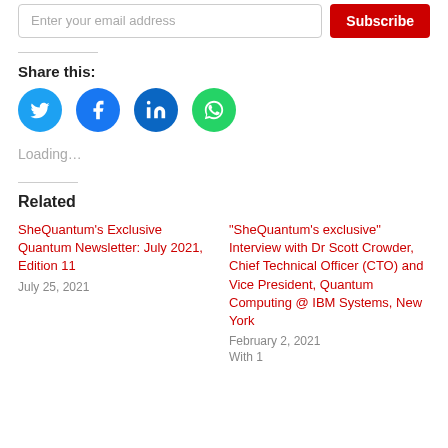[Figure (screenshot): Email input field with placeholder 'Enter your email address' and a red Subscribe button]
Share this:
[Figure (infographic): Four social media icon circles: Twitter (blue), Facebook (dark blue), LinkedIn (dark blue), WhatsApp (green)]
Loading...
Related
SheQuantum's Exclusive Quantum Newsletter: July 2021, Edition 11
July 25, 2021
“SheQuantum’s exclusive” Interview with Dr Scott Crowder, Chief Technical Officer (CTO) and Vice President, Quantum Computing @ IBM Systems, New York
February 2, 2021
With 1 comment